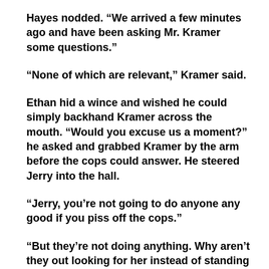Hayes nodded. “We arrived a few minutes ago and have been asking Mr. Kramer some questions.”
“None of which are relevant,” Kramer said.
Ethan hid a wince and wished he could simply backhand Kramer across the mouth. “Would you excuse us a moment?” he asked and grabbed Kramer by the arm before the cops could answer. He steered Jerry into the hall.
“Jerry, you’re not going to do anyone any good if you piss off the cops.”
“But they’re not doing anything. Why aren’t they out looking for her instead of standing in my kitchen asking irrelevant questions?”